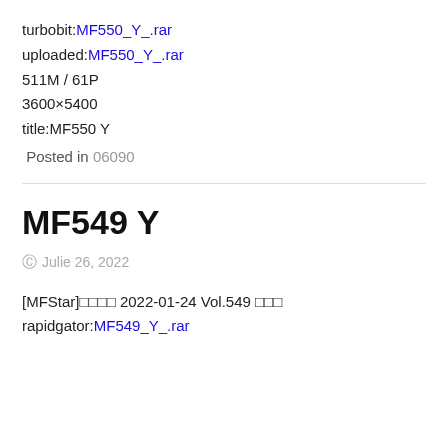turbobit:MF550_Y_.rar
uploaded:MF550_Y_.rar
511M / 61P
3600×5400
title:MF550 Y
Posted in 06090
MF549 Y
Julie 26, 2022
[MFStar]□□□□ 2022-01-24 Vol.549 □□□
rapidgator:MF549_Y_.rar